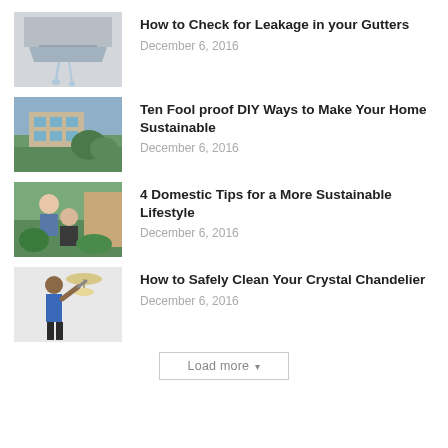[Figure (photo): Gutter with water leaking]
How to Check for Leakage in your Gutters
December 6, 2016
[Figure (photo): Modern sustainable home building with greenery]
Ten Fool proof DIY Ways to Make Your Home Sustainable
December 6, 2016
[Figure (photo): Man and woman gardening outdoors]
4 Domestic Tips for a More Sustainable Lifestyle
December 6, 2016
[Figure (photo): Man cleaning a crystal chandelier]
How to Safely Clean Your Crystal Chandelier
December 6, 2016